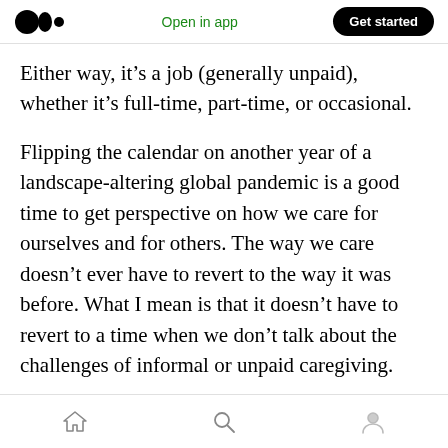Open in app  Get started
Either way, it’s a job (generally unpaid), whether it’s full-time, part-time, or occasional.
Flipping the calendar on another year of a landscape-altering global pandemic is a good time to get perspective on how we care for ourselves and for others. The way we care doesn’t ever have to revert to the way it was before. What I mean is that it doesn’t have to revert to a time when we don’t talk about the challenges of informal or unpaid caregiving.
I first heard the term ‘uncompensated care’ at a
Home  Search  Profile